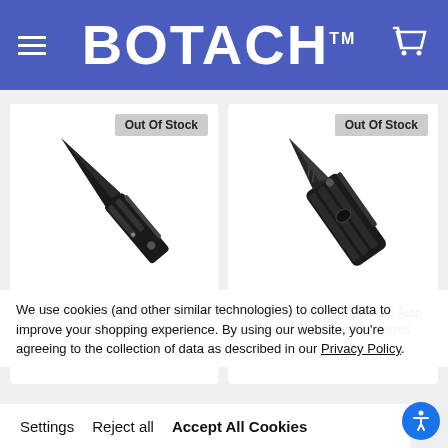BOTACH™
[Figure (photo): Benchmade 9101BK Auto Stryker Automatic Folding Knife - black folding knife product photo with Out Of Stock badge]
Out Of Stock
Benchmade 9101BK Auto Stryker Automatic Folding Knives
$233.75
[Figure (photo): Benchmade 5750SBK Mini Auto Presidio Axis Folding Knives - black folding knife product photo with Out Of Stock badge]
Out Of Stock
Benchmade 5750SBK Mini Auto Presidio Axis Folding Knives
$221.00
We use cookies (and other similar technologies) to collect data to improve your shopping experience. By using our website, you're agreeing to the collection of data as described in our Privacy Policy.
Settings   Reject all   Accept All Cookies